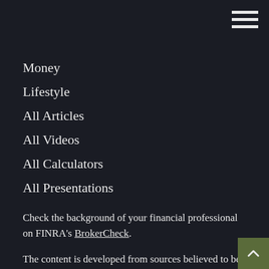[Figure (other): Hamburger menu icon with three horizontal white lines in top right corner]
Money
Lifestyle
All Articles
All Videos
All Calculators
All Presentations
Check the background of your financial professional on FINRA's BrokerCheck.
The content is developed from sources believed to be providing accurate information. The information in this material is not intended as tax or legal advice. Please consult legal or tax professionals for specific information regarding your individual situation. Some of this material was developed and produced by FMG Suite to provide information on a topic that may be of interest. FMG Suite is